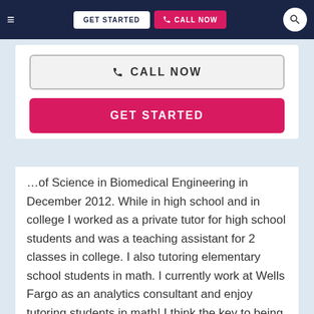≡   GET STARTED   📞 CALL NOW   🔍
[Figure (screenshot): Call Now button - light grey outlined button with phone icon]
[Figure (screenshot): Get Started button - pink/crimson filled button]
…of Science in Biomedical Engineering in December 2012. While in high school and in college I worked as a private tutor for high school students and was a teaching assistant for 2 classes in college. I also tutoring elementary school students in math. I currently work at Wells Fargo as an analytics consultant and enjoy tutoring students in math! I think the key to being a great tutor is having patience and